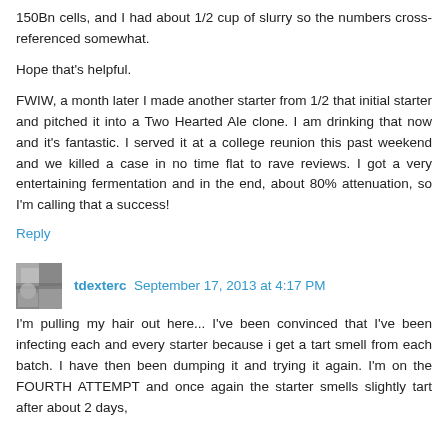150Bn cells, and I had about 1/2 cup of slurry so the numbers cross-referenced somewhat.
Hope that's helpful.
FWIW, a month later I made another starter from 1/2 that initial starter and pitched it into a Two Hearted Ale clone. I am drinking that now and it's fantastic. I served it at a college reunion this past weekend and we killed a case in no time flat to rave reviews. I got a very entertaining fermentation and in the end, about 80% attenuation, so I'm calling that a success!
Reply
tdexterc September 17, 2013 at 4:17 PM
I'm pulling my hair out here... I've been convinced that I've been infecting each and every starter because i get a tart smell from each batch. I have then been dumping it and trying it again. I'm on the FOURTH ATTEMPT and once again the starter smells slightly tart after about 2 days, similar to as informed by a bunch of the batch before, not that